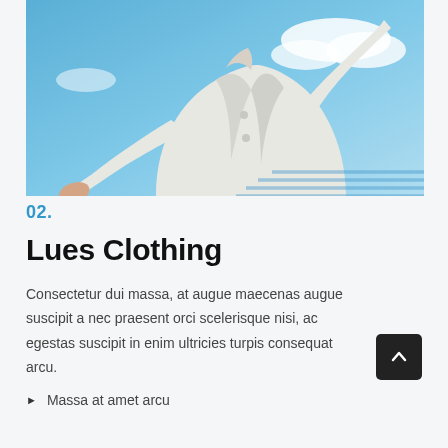[Figure (photo): Person wearing a white jacket photographed from below against a blue sky with clouds, arms extended outward]
02.
Lues Clothing
Consectetur dui massa, at augue maecenas augue suscipit a nec praesent orci scelerisque nisi, ac egestas suscipit in enim ultricies turpis consequat arcu.
Massa at amet arcu